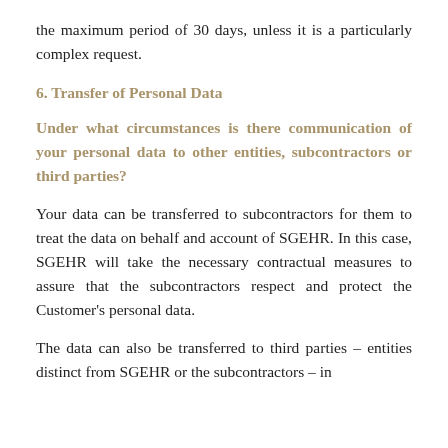the maximum period of 30 days, unless it is a particularly complex request.
6. Transfer of Personal Data
Under what circumstances is there communication of your personal data to other entities, subcontractors or third parties?
Your data can be transferred to subcontractors for them to treat the data on behalf and account of SGEHR. In this case, SGEHR will take the necessary contractual measures to assure that the subcontractors respect and protect the Customer's personal data.
The data can also be transferred to third parties – entities distinct from SGEHR or the subcontractors – in